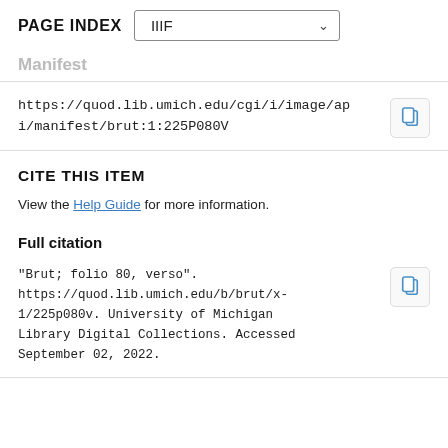PAGE INDEX
Manifest
https://quod.lib.umich.edu/cgi/i/image/api/manifest/brut:1:225P080V
CITE THIS ITEM
View the Help Guide for more information.
Full citation
"Brut; folio 80, verso". https://quod.lib.umich.edu/b/brut/x-1/225p080v. University of Michigan Library Digital Collections. Accessed September 02, 2022.